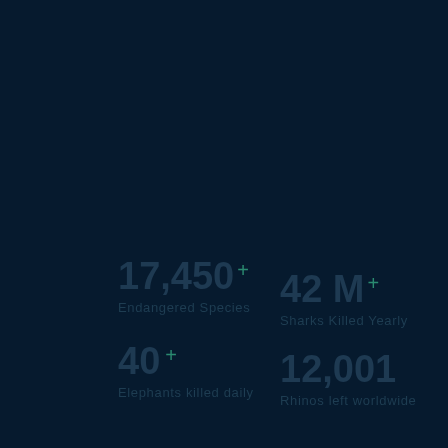17,450+ Endangered Species
42 M+ Sharks Killed Yearly
40+ Elephants killed daily
12,001 Rhinos left worldwide